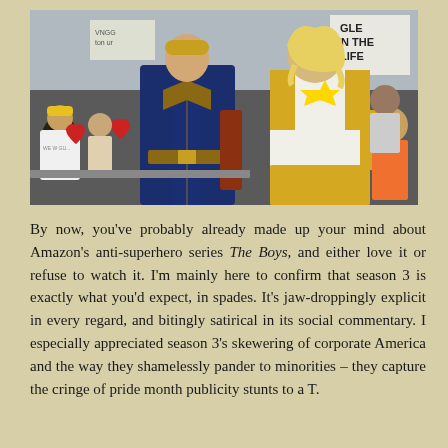[Figure (photo): Photo of two people in superhero costumes at a public event. On the left, a person in a dark blue superhero suit with gold/brown accents and a belt. On the right, a woman in a white and gold costume with gold arm gloves. Behind them is a crowd and protest signs, including one reading 'IN THE LIFE'.]
By now, you've probably already made up your mind about Amazon's anti-superhero series The Boys, and either love it or refuse to watch it. I'm mainly here to confirm that season 3 is exactly what you'd expect, in spades. It's jaw-droppingly explicit in every regard, and bitingly satirical in its social commentary. I especially appreciated season 3's skewering of corporate America and the way they shamelessly pander to minorities – they capture the cringe of pride month publicity stunts to a T.